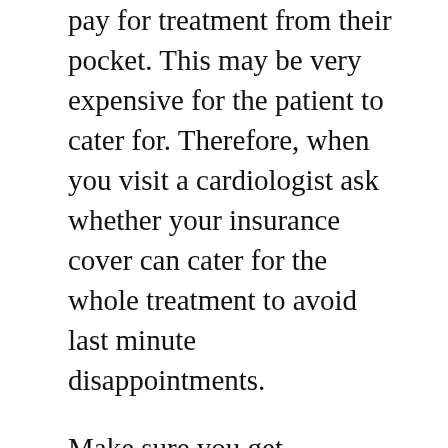pay for treatment from their pocket. This may be very expensive for the patient to cater for. Therefore, when you visit a cardiologist ask whether your insurance cover can cater for the whole treatment to avoid last minute disappointments.
Make sure you get references. It is very important that you look for references of a couple of cardiologists before settling on a particular one. This will help you choose the best qualified cardiologist to treat your heart condition. Sources of references include your personal doctor, other health specialists and the internet. Carry out your research, note down a couple of cardiologists, then assess